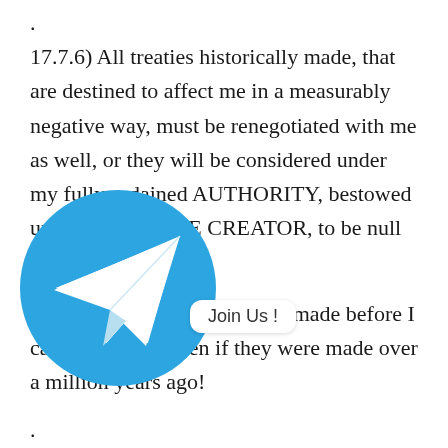.
17.7.6) All treaties historically made, that are destined to affect me in a measurably negative way, must be renegotiated with me as well, or they will be considered under my fully ordained AUTHORITY, bestowed unto me by PRIME CREATOR, to be null and void.
This stands even if they were made before I came here, and even if they were made over a million years ago!
.
17. [obscured] persons, beings, entities, corporations, s[obscured] ar[obscured] human, from Earth, or not f[obscured] making such treaties with Earthly Visitors, and once finding out about my NOTICE OF [INTENTION...]
[Figure (logo): Telegram app logo — blue circle with white paper plane arrow icon. Overlaid with a white rounded rectangle bubble reading 'Join Us !']